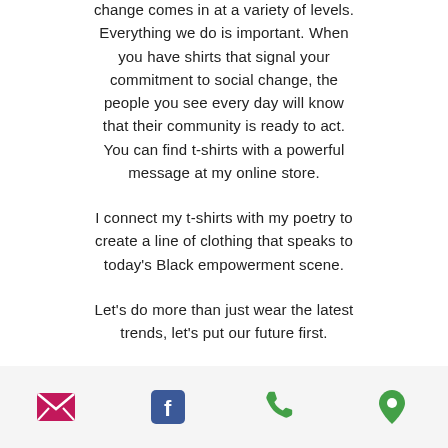change comes in at a variety of levels. Everything we do is important. When you have shirts that signal your commitment to social change, the people you see every day will know that their community is ready to act. You can find t-shirts with a powerful message at my online store.
I connect my t-shirts with my poetry to create a line of clothing that speaks to today's Black empowerment scene.
Let's do more than just wear the latest trends, let's put our future first.
[Figure (other): Footer bar with four icons: email (pink envelope), Facebook (blue f), phone (green phone), and location pin (green)]